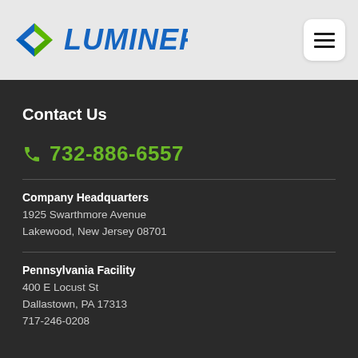[Figure (logo): Luminer company logo with green diamond/arrow icon and blue LUMINER text in italics]
[Figure (other): Hamburger menu button (three horizontal lines) in a white rounded rectangle]
Contact Us
732-886-6557
Company Headquarters
1925 Swarthmore Avenue
Lakewood, New Jersey 08701
Pennsylvania Facility
400 E Locust St
Dallastown, PA 17313
717-246-0208